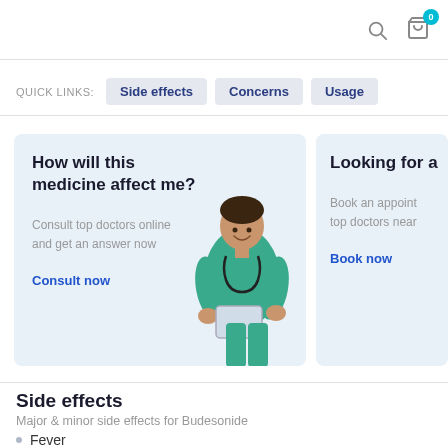Quick links: Side effects | Concerns | Usage
[Figure (screenshot): Card: How will this medicine affect me? Consult top doctors online and get an answer now. Consult now. With image of doctor in green scrubs.]
[Figure (screenshot): Partial card: Looking for a... Book an appointment with top doctors near. Book now.]
Side effects
Major & minor side effects for Budesonide
Fever